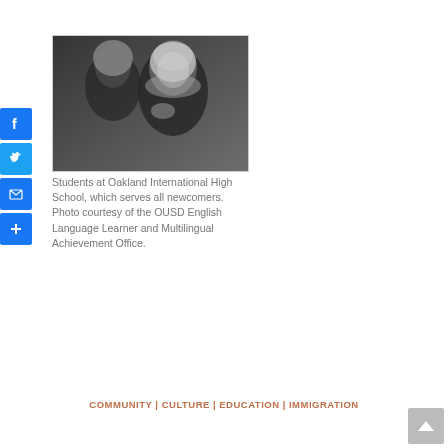[Figure (photo): Black and white photograph of two students wearing hijabs at Oakland International High School]
Students at Oakland International High School, which serves all newcomers. Photo courtesy of the OUSD English Language Learner and Multilingual Achievement Office.
COMMUNITY | CULTURE | EDUCATION | IMMIGRATION